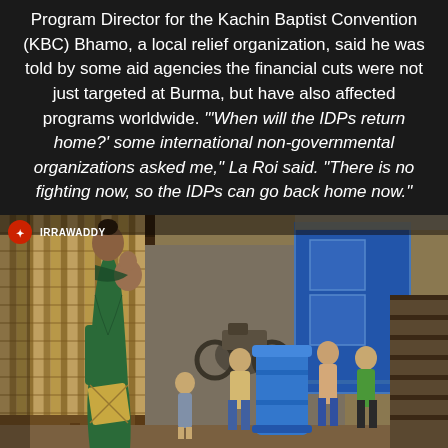Program Director for the Kachin Baptist Convention (KBC) Bhamo, a local relief organization, said he was told by some aid agencies the financial cuts were not just targeted at Burma, but have also affected programs worldwide. "'When will the IDPs return home?' some international non-governmental organizations asked me," La Roi said. "There is no fighting now, so the IDPs can go back home now."
[Figure (photo): Photo of a woman carrying a baby on her back in a green dress standing near a bamboo wall, with several children gathered around a large blue barrel/container in an alleyway of a displacement camp. Blue shed structure and wooden stairs visible in background. Watermark 'IRRAWADDY' with red logo in top-left corner.]